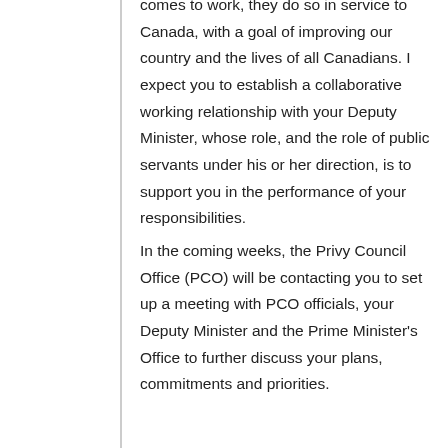comes to work, they do so in service to Canada, with a goal of improving our country and the lives of all Canadians. I expect you to establish a collaborative working relationship with your Deputy Minister, whose role, and the role of public servants under his or her direction, is to support you in the performance of your responsibilities.
In the coming weeks, the Privy Council Office (PCO) will be contacting you to set up a meeting with PCO officials, your Deputy Minister and the Prime Minister's Office to further discuss your plans, commitments and priorities.